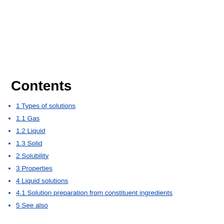Contents
1 Types of solutions
1.1 Gas
1.2 Liquid
1.3 Solid
2 Solubility
3 Properties
4 Liquid solutions
4.1 Solution preparation from constituent ingredients
5 See also